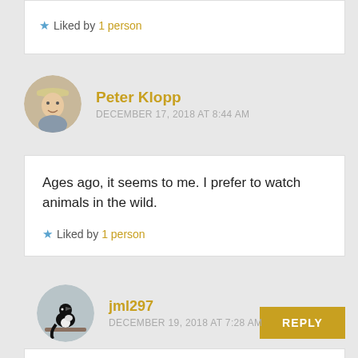Liked by 1 person
Peter Klopp
DECEMBER 17, 2018 AT 8:44 AM
Ages ago, it seems to me. I prefer to watch animals in the wild.
Liked by 1 person
REPLY
jml297
DECEMBER 19, 2018 AT 7:28 AM